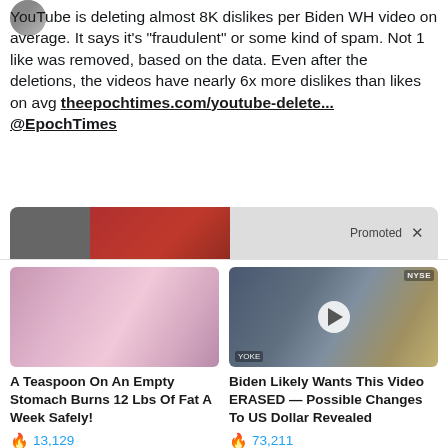[Figure (photo): Small circular avatar photo of a person, partially visible at top]
YouTube is deleting almost 8K dislikes per Biden WH video on average. It says it's "fraudulent" or some kind of spam. Not 1 like was removed, based on the data. Even after the deletions, the videos have nearly 6x more dislikes than likes on avg theepochtimes.com/youtube-delete... @EpochTimes
[Figure (screenshot): Promoted content banner at bottom of tweet card with red and dark background and 'Promoted X' label]
[Figure (photo): Advertisement image showing two women in pink loungewear sitting on a couch]
A Teaspoon On An Empty Stomach Burns 12 Lbs Of Fat A Week Safely!
🔥 13,129
[Figure (photo): Advertisement image showing a man in a suit at NYSE with a video play button overlay]
Biden Likely Wants This Video ERASED — Possible Changes To US Dollar Revealed
🔥 73,211